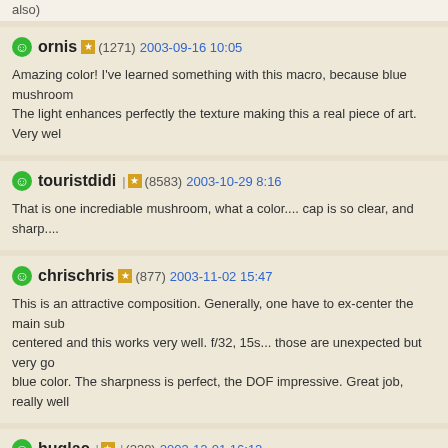also)
ornis (1271) 2003-09-16 10:05
Amazing color! I've learned something with this macro, because blue mushroom
The light enhances perfectly the texture making this a real piece of art. Very wel
touristdidi (8583) 2003-10-29 8:16
That is one incrediable mushroom, what a color.... cap is so clear, and sharp....
chrischris (877) 2003-11-02 15:47
This is an attractive composition. Generally, one have to ex-center the main sub
centered and this works very well. f/32, 15s... those are unexpected but very go
blue color. The sharpness is perfect, the DOF impressive. Great job, really well
huglac (238) 2003-12-01 16:12
A "blue" mushroom, which miracle! I never thought of seeing that. Please have s
made a success photo.
Un champignon "bleu", quelle merveille! Je pensais ne jamais voir. Merci de's